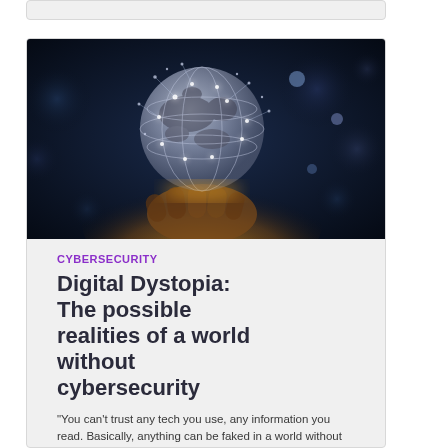[Figure (photo): A hand holding a glowing digital globe with network connections against a dark blue bokeh background, representing cybersecurity and digital connectivity.]
CYBERSECURITY
Digital Dystopia: The possible realities of a world without cybersecurity
"You can't trust any tech you use, any information you read. Basically, anything can be faked in a world without cybersecurity."